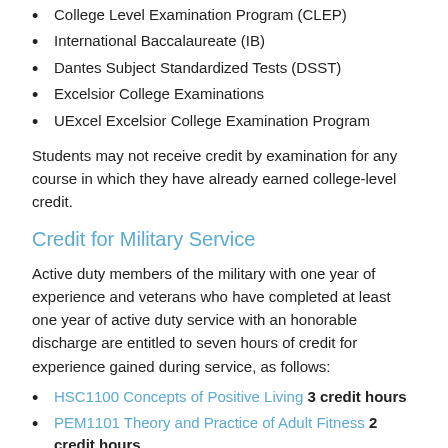College Level Examination Program (CLEP)
International Baccalaureate (IB)
Dantes Subject Standardized Tests (DSST)
Excelsior College Examinations
UExcel Excelsior College Examination Program
Students may not receive credit by examination for any course in which they have already earned college-level credit.
Credit for Military Service
Active duty members of the military with one year of experience and veterans who have completed at least one year of active duty service with an honorable discharge are entitled to seven hours of credit for experience gained during service, as follows:
HSC1100 Concepts of Positive Living 3 credit hours
PEM1101 Theory and Practice of Adult Fitness 2 credit hours